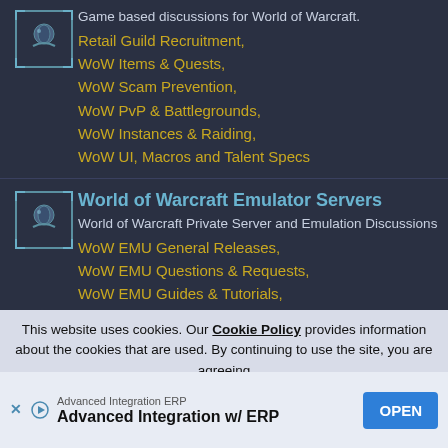Game based discussions for World of Warcraft.
Retail Guild Recruitment,
WoW Items & Quests,
WoW Scam Prevention,
WoW PvP & Battlegrounds,
WoW Instances & Raiding,
WoW UI, Macros and Talent Specs
World of Warcraft Emulator Servers
World of Warcraft Private Server and Emulation Discussions
WoW EMU General Releases,
WoW EMU Questions & Requests,
WoW EMU Guides & Tutorials,
WoW EMU Programs,
WoW Emulator Server Listings,
This website uses cookies. Our Cookie Policy provides information about the cookies that are used. By continuing to use the site, you are agreeing
Advanced Integration ERP
Advanced Integration w/ ERP